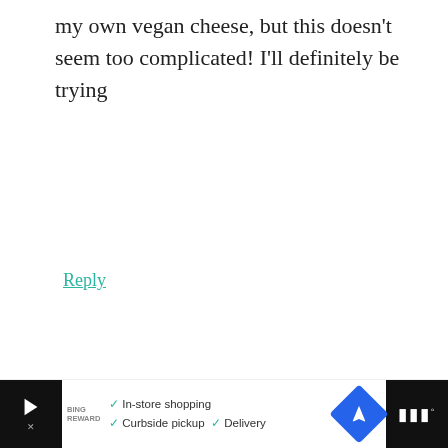my own vegan cheese, but this doesn't seem too complicated! I'll definitely be trying
Reply
Malgorzata says
October 15, 2015 at 6:36 am
Mozarella looks great! I will t
Reply
[Figure (other): What's Next panel showing Dreena's Kind Kitchen: my...]
[Figure (other): Advertisement bar: In-store shopping, Curbside pickup, Delivery with navigation arrow icon]